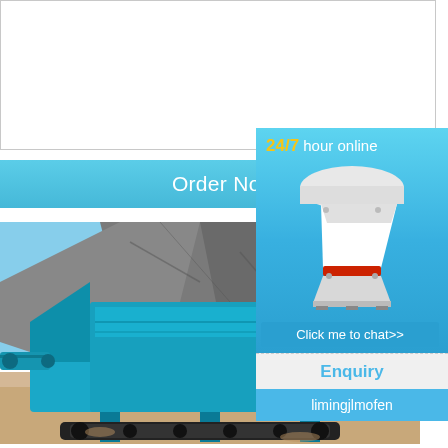[Figure (other): Empty textarea input box with resize handle in bottom-right corner]
Order Now
[Figure (photo): A blue mobile crushing machine / screening plant parked outdoors in front of a rocky cliff face on a sandy/gravel surface]
Copper And Molybdenum Grinding Machine
Pper And Molybdenum Grinding Machine. C molybdenum grinding machine copper and grinding machine kanarichcoin leaching pro h crushing plant copper mine milling and grin Diamond turning Wikipedia Diamond turnin diamond as the cutting tool It is a process o machining of precision elements using lath
[Figure (photo): 24/7 hour online - Cone crusher machine image with chat button, Enquiry section, and limingjlmofen label on a blue background sidebar panel]